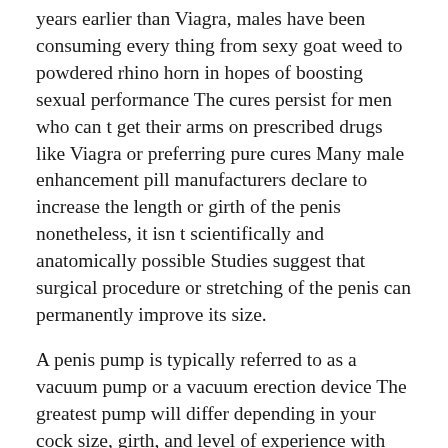years earlier than Viagra, males have been consuming every thing from sexy goat weed to powdered rhino horn in hopes of boosting sexual performance The cures persist for men who can t get their arms on prescribed drugs like Viagra or preferring pure cures Many male enhancement pill manufacturers declare to increase the length or girth of the penis nonetheless, it isn t scientifically and anatomically possible Studies suggest that surgical procedure or stretching of the penis can permanently improve its size.
A penis pump is typically referred to as a vacuum pump or a vacuum erection device The greatest pump will differ depending in your cock size, girth, and level of experience with using penis pumps Overall, we think that one of the best penis pump for novices is going to be the Bathmate HydroMax 7 Over time, it ll also strengthen and enhance the size of the blood vessels in your penis, which comes with added advantages.
This distinction is principally because of climatic conditions